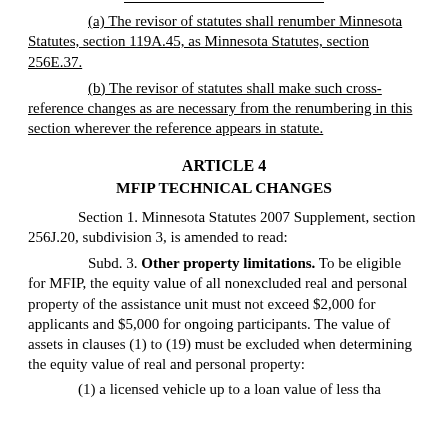(a) The revisor of statutes shall renumber Minnesota Statutes, section 119A.45, as Minnesota Statutes, section 256E.37.
(b) The revisor of statutes shall make such cross-reference changes as are necessary from the renumbering in this section wherever the reference appears in statute.
ARTICLE 4
MFIP TECHNICAL CHANGES
Section 1. Minnesota Statutes 2007 Supplement, section 256J.20, subdivision 3, is amended to read:
Subd. 3. Other property limitations. To be eligible for MFIP, the equity value of all nonexcluded real and personal property of the assistance unit must not exceed $2,000 for applicants and $5,000 for ongoing participants. The value of assets in clauses (1) to (19) must be excluded when determining the equity value of real and personal property:
(1) a licensed vehicle up to a loan value of less than...